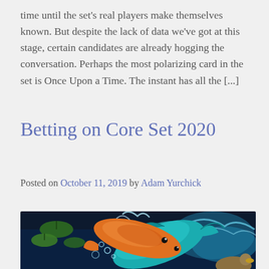time until the set's real players make themselves known. But despite the lack of data we've got at this stage, certain candidates are already hogging the conversation. Perhaps the most polarizing card in the set is Once Upon a Time. The instant has all the [...]
Betting on Core Set 2020
Posted on October 11, 2019 by Adam Yurchick
[Figure (illustration): Fantasy illustration of colorful koi fish — one orange and one teal/blue — leaping through water with lily pads in the background, painted in a vibrant fantasy art style.]